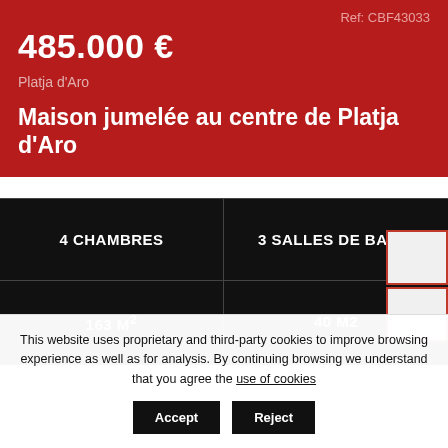Ref: CBF43033
485.000 €
Platja d'Aro
Maison jumelée au centre de Platja d'Aro
4 CHAMBRES
3 SALLES DE BAINS
163 M²
40 M2
This website uses proprietary and third-party cookies to improve browsing experience as well as for analysis. By continuing browsing we understand that you agree the use of cookies